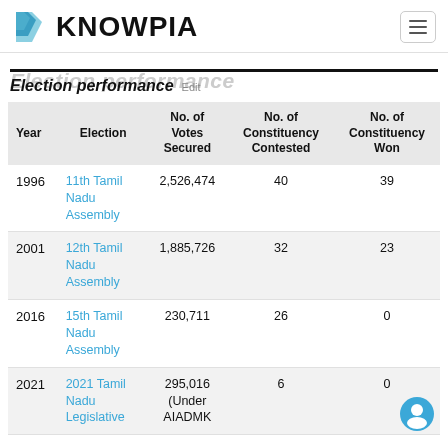KNOWPIA
Election performance Edit
| Year | Election | No. of Votes Secured | No. of Constituency Contested | No. of Constituency Won |
| --- | --- | --- | --- | --- |
| 1996 | 11th Tamil Nadu Assembly | 2,526,474 | 40 | 39 |
| 2001 | 12th Tamil Nadu Assembly | 1,885,726 | 32 | 23 |
| 2016 | 15th Tamil Nadu Assembly | 230,711 | 26 | 0 |
| 2021 | 2021 Tamil Nadu Legislative | 295,016 (Under AIADMK | 6 | 0 |